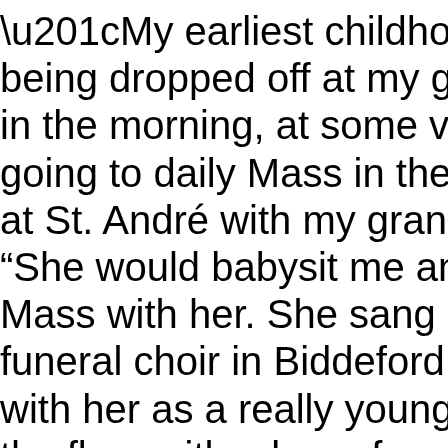“My earliest childhood mem being dropped off at my gr in the morning, at some ve going to daily Mass in the at St. André with my grand “She would babysit me an Mass with her. She sang a funeral choir in Biddeford. with her as a really young the floor with a bag of crac notebook and doodling wh